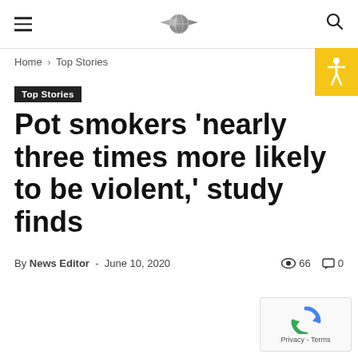Navigation header with hamburger menu, logo, and search icon
Home › Top Stories
Top Stories
Pot smokers 'nearly three times more likely to be violent,' study finds
By News Editor - June 10, 2020  👁 66  💬 0